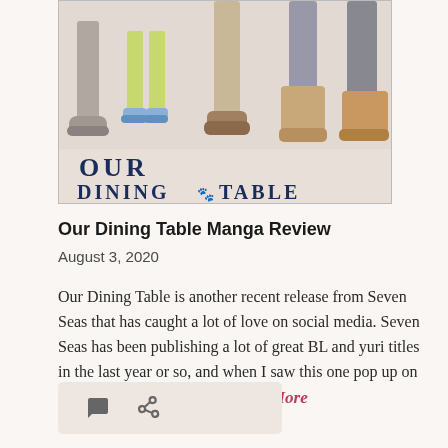[Figure (illustration): Manga book cover for 'Our Dining Table' showing illustrated legs and feet wearing various shoes, with bold title text at the bottom]
Our Dining Table Manga Review
August 3, 2020
Our Dining Table is another recent release from Seven Seas that has caught a lot of love on social media. Seven Seas has been publishing a lot of great BL and yuri titles in the last year or so, and when I saw this one pop up on Twitter, I felt like it would be … More